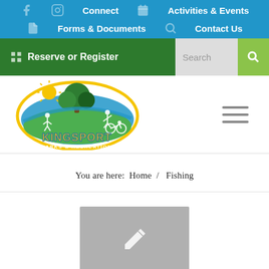Connect  Activities & Events  Forms & Documents  Contact Us
[Figure (screenshot): Navigation bar with Reserve or Register button and Search input field]
[Figure (logo): Kingsport Parks & Recreation circular logo with tree, sun, and activity silhouettes]
You are here:  Home  /  Fishing
[Figure (other): Gray placeholder image with pencil/edit icon]